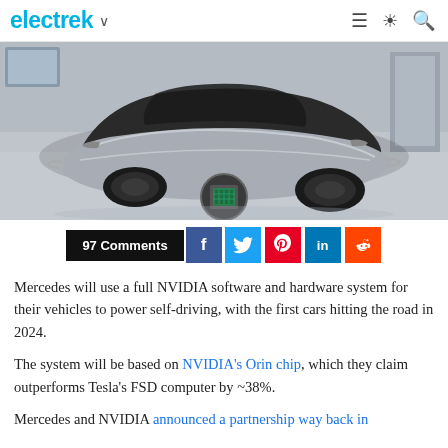electrek
[Figure (photo): Futuristic silver Mercedes concept car in a showroom, with an NVIDIA chip icon overlaid at the bottom center of the image.]
97 Comments
Mercedes will use a full NVIDIA software and hardware system for their vehicles to power self-driving, with the first cars hitting the road in 2024.
The system will be based on NVIDIA's Orin chip, which they claim outperforms Tesla's FSD computer by ~38%.
Mercedes and NVIDIA announced a partnership way back in